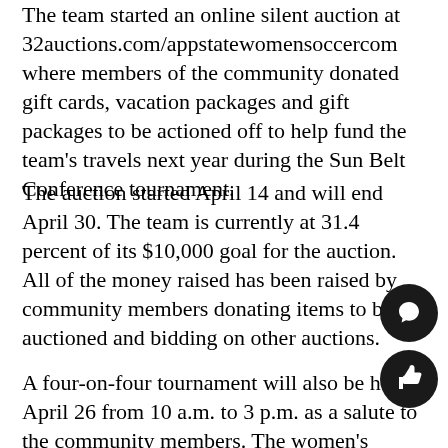The team started an online silent auction at 32auctions.com/appstatewomensoccercom where members of the community donated gift cards, vacation packages and gift packages to be actioned off to help fund the team's travels next year during the Sun Belt Conference tournament.
The auction started April 14 and will end April 30. The team is currently at 31.4 percent of its $10,000 goal for the auction. All of the money raised has been raised by community members donating items to be auctioned and bidding on other auctions.
A four-on-four tournament will also be held April 26 from 10 a.m. to 3 p.m. as a salute to the community members. The women's soccer team will act as referees at the event which will be catered by donations from local grocers like